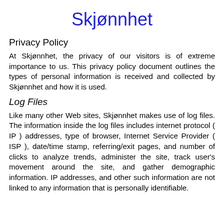Skjønnhet
Privacy Policy
At Skjønnhet, the privacy of our visitors is of extreme importance to us. This privacy policy document outlines the types of personal information is received and collected by Skjønnhet and how it is used.
Log Files
Like many other Web sites, Skjønnhet makes use of log files. The information inside the log files includes internet protocol ( IP ) addresses, type of browser, Internet Service Provider ( ISP ), date/time stamp, referring/exit pages, and number of clicks to analyze trends, administer the site, track user's movement around the site, and gather demographic information. IP addresses, and other such information are not linked to any information that is personally identifiable.